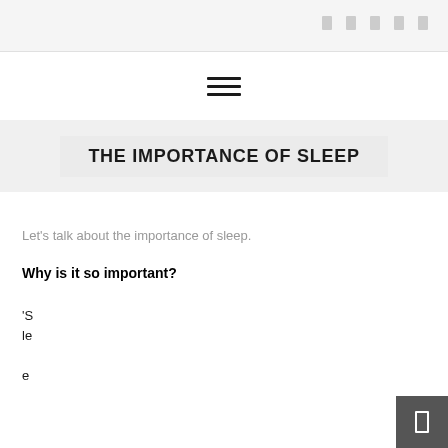[Figure (other): Hamburger menu icon (three horizontal lines)]
THE IMPORTANCE OF SLEEP
Let's talk about the importance of sleep.
Why is it so important?
'Sle e